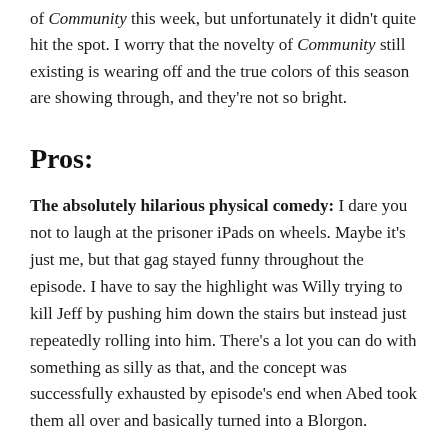of Community this week, but unfortunately it didn't quite hit the spot. I worry that the novelty of Community still existing is wearing off and the true colors of this season are showing through, and they're not so bright.
Pros:
The absolutely hilarious physical comedy: I dare you not to laugh at the prisoner iPads on wheels. Maybe it's just me, but that gag stayed funny throughout the episode. I have to say the highlight was Willy trying to kill Jeff by pushing him down the stairs but instead just repeatedly rolling into him. There's a lot you can do with something as silly as that, and the concept was successfully exhausted by episode's end when Abed took them all over and basically turned into a Blorgon.
[Figure (photo): A dark photograph strip at the bottom of the page, partially visible, appearing to show a scene from the TV show Community.]